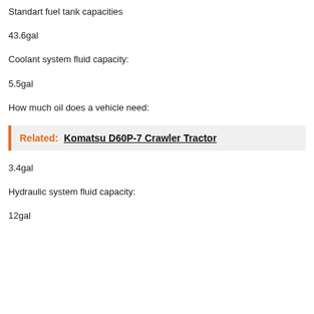Standart fuel tank capacities
43.6gal
Coolant system fluid capacity:
5.5gal
How much oil does a vehicle need:
Related:  Komatsu D60P-7 Crawler Tractor
3.4gal
Hydraulic system fluid capacity:
12gal